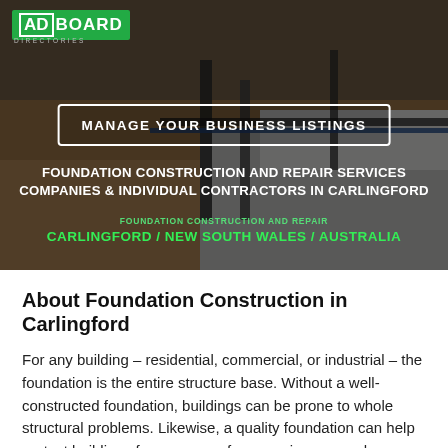[Figure (photo): Construction site background image showing concrete foundation work and earthen ground]
MANAGE YOUR BUSINESS LISTINGS
FOUNDATION CONSTRUCTION AND REPAIR SERVICES COMPANIES & INDIVIDUAL CONTRACTORS IN CARLINGFORD
FOUNDATION CONSTRUCTION AND REPAIR
CARLINGFORD / NEW SOUTH WALES / AUSTRALIA
About Foundation Construction in Carlingford
For any building – residential, commercial, or industrial – the foundation is the entire structure base. Without a well-constructed foundation, buildings can be prone to whole structural problems. Likewise, a quality foundation can help protect buildings from many unforeseen issues, such as settling, shifting over time, seismic action, and much more. The professionals who work to build foundations generally